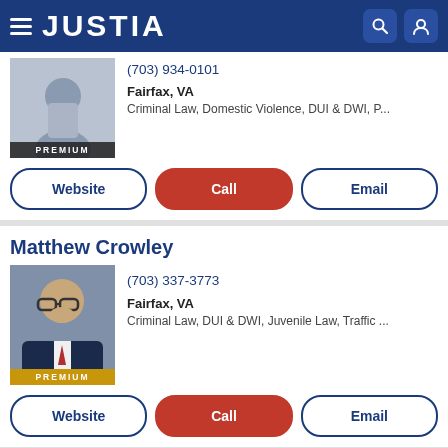JUSTIA
(703) 934-0101
Fairfax, VA
Criminal Law, Domestic Violence, DUI & DWI, P...
Website | Call | Email
Matthew Crowley
(703) 337-3773
Fairfax, VA
Criminal Law, DUI & DWI, Juvenile Law, Traffic ...
Website | Call | Email
John W. Hartel